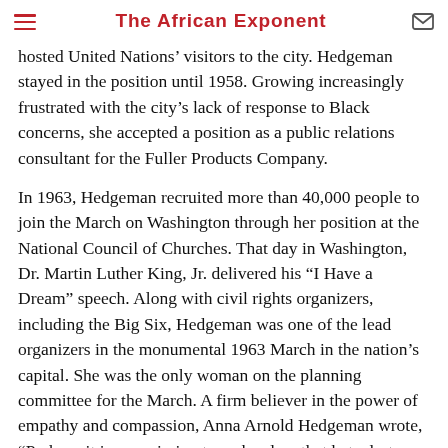The African Exponent
hosted United Nations’ visitors to the city. Hedgeman stayed in the position until 1958. Growing increasingly frustrated with the city’s lack of response to Black concerns, she accepted a position as a public relations consultant for the Fuller Products Company.
In 1963, Hedgeman recruited more than 40,000 people to join the March on Washington through her position at the National Council of Churches. That day in Washington, Dr. Martin Luther King, Jr. delivered his “I Have a Dream” speech. Along with civil rights organizers, including the Big Six, Hedgeman was one of the lead organizers in the monumental 1963 March in the nation’s capital. She was the only woman on the planning committee for the March. A firm believer in the power of empathy and compassion, Anna Arnold Hedgeman wrote, “Perhaps it is our mission to make clear that hate destroys, and that love can bring wholeness to mankind,” in her memoir, The